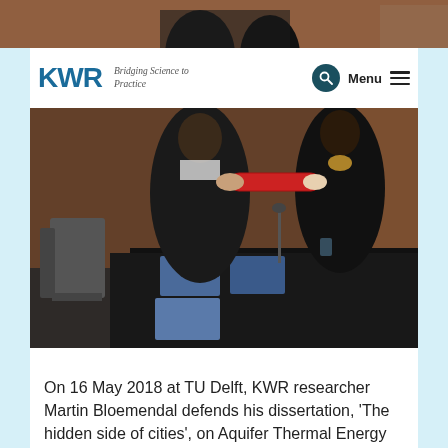[Figure (photo): Top strip photo showing people in dark academic robes at a ceremony, partially cropped]
KWR — Bridging Science to Practice
[Figure (photo): Two people in academic graduation robes exchanging a red diploma tube at a ceremony, with a table covered in black cloth with documents in the background]
On 16 May 2018 at TU Delft, KWR researcher Martin Bloemendal defends his dissertation, 'The hidden side of cities', on Aquifer Thermal Energy Storage (ATES) systems. His thesis presents methods for governance, design and planning of ATES systems, which can contribute to better planning in densely